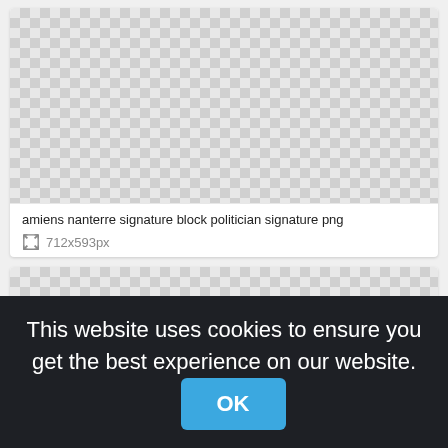[Figure (photo): Checkerboard transparent background placeholder image for a PNG file (amiens nanterre signature block politician signature)]
amiens nanterre signature block politician signature png
712x593px
[Figure (photo): Second checkerboard transparent background placeholder image]
This website uses cookies to ensure you get the best experience on our website.